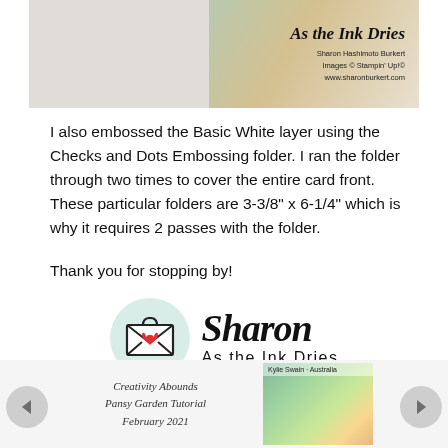[Figure (photo): Top partial image showing a crafting blog header with 'As the Ink Dries' title, Sharon Hashimoto Burkert name, Stampin Up images credit, and www.sharonburkert.com URL]
I also embossed the Basic White layer using the Checks and Dots Embossing folder. I ran the folder through two times to cover the entire card front. These particular folders are 3-3/8" x 6-1/4" which is why it requires 2 passes with the folder.
Thank you for stopping by!
[Figure (logo): Sharon As the Ink Dries signature block with envelope icon in mint circle, cursive Sharon name, tagline 'As the Ink Dries', and email sharon@astheinkdries.com]
[Figure (photo): Bottom strip showing two partial preview images: left shows 'Creativity Abounds Pansy Garden Tutorial February 2021' script text, right shows a colorful crafting supply photo]